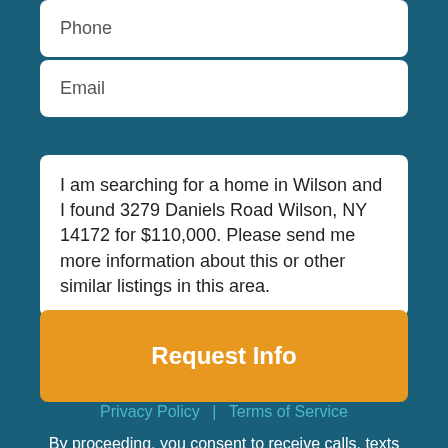Phone
Email
I am searching for a home in Wilson and I found 3279 Daniels Road Wilson, NY 14172 for $110,000. Please send me more information about this or other similar listings in this area.
Request Info
Privacy Policy | Terms of Service
By proceeding, you consent to receive calls, texts